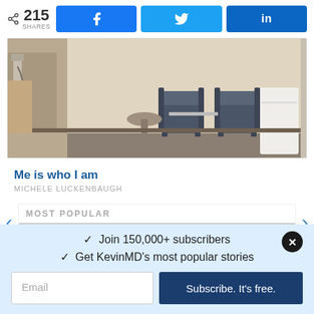215 SHARES | Facebook share | Twitter share | LinkedIn share
[Figure (photo): Medical examination room with beige walls, two dark blue chairs, a small round stool, and a white cabinet/table. Medical equipment visible on the left wall.]
Me is who I am
MICHELE LUCKENBAUGH
MOST POPULAR
✓  Join 150,000+ subscribers
✓  Get KevinMD's most popular stories
Email | Subscribe. It's free.